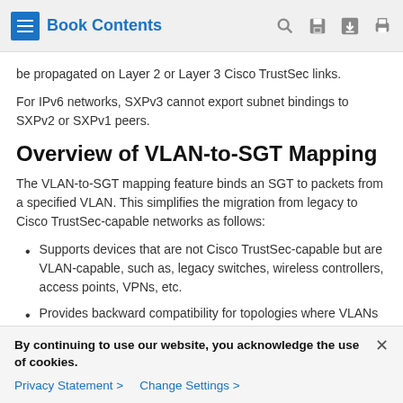Book Contents
be propagated on Layer 2 or Layer 3 Cisco TrustSec links.
For IPv6 networks, SXPv3 cannot export subnet bindings to SXPv2 or SXPv1 peers.
Overview of VLAN-to-SGT Mapping
The VLAN-to-SGT mapping feature binds an SGT to packets from a specified VLAN. This simplifies the migration from legacy to Cisco TrustSec-capable networks as follows:
Supports devices that are not Cisco TrustSec-capable but are VLAN-capable, such as, legacy switches, wireless controllers, access points, VPNs, etc.
Provides backward compatibility for topologies where VLANs and VLAN ACLs are set at the network edge.
By continuing to use our website, you acknowledge the use of cookies.
Privacy Statement > Change Settings >